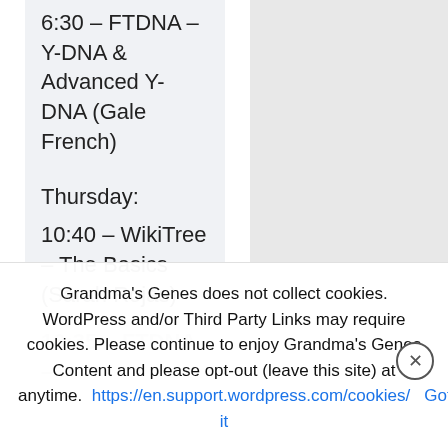6:30 – FTDNA – Y-DNA & Advanced Y-DNA (Gale French)
Thursday:
10:40 – WikiTree – The Basics (Sarah Rojas)
10:35 – FTDNA – DNA Databases (M... Goldm...)
11:0... Area + Meeting Tool Makers (Bob...
Grandma's Genes does not collect cookies. WordPress and/or Third Party Links may require cookies. Please continue to enjoy Grandma's Genes Content and please opt-out (leave this site) at anytime. https://en.support.wordpress.com/cookies/ Got it